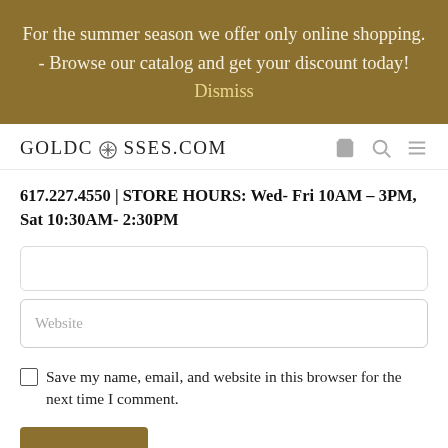For the summer season we offer only online shopping. - Browse our catalog and get your discount today! Dismiss
[Figure (logo): GOLDCROSSES.COM logo with a cross symbol in the letter O, accompanied by cart, search, and menu icons]
617.227.4550 | STORE HOURS: Wed- Fri 10AM – 3PM, Sat 10:30AM- 2:30PM
Website
Save my name, email, and website in this browser for the next time I comment.